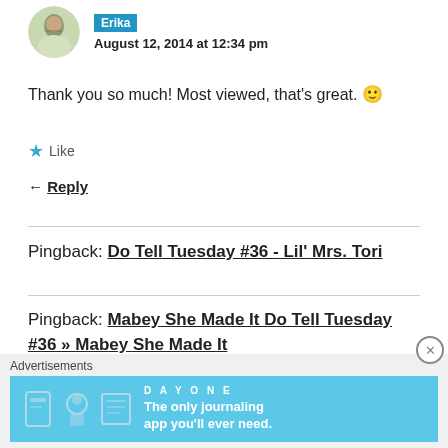[Figure (photo): Circular avatar photo of a person in a dress outdoors]
Erika
August 12, 2014 at 12:34 pm
Thank you so much! Most viewed, that's great. 🙂
★ Like
↩ Reply
Pingback: Do Tell Tuesday #36 - Lil' Mrs. Tori
Pingback: Mabey She Made It Do Tell Tuesday #36 » Mabey She Made It
Advertisements
[Figure (screenshot): Day One journaling app advertisement banner with blue background and text: The only journaling app you'll ever need.]